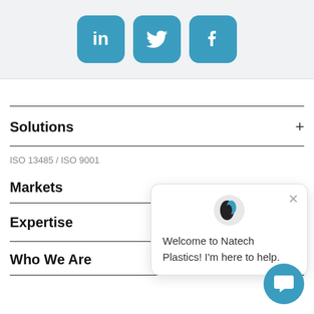[Figure (other): Social media icons: LinkedIn, Twitter, Facebook in teal rounded squares]
Solutions +
ISO 13485 / ISO 9001
Markets
Expertise +
Who We Are
[Figure (other): Chat widget popup: Natech Plastics logo with message 'Welcome to Natech Plastics! I'm here to help.' and a teal chat button]